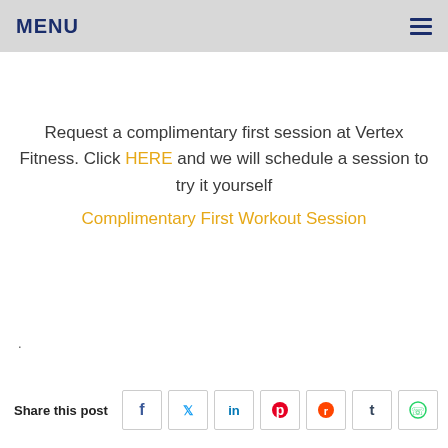MENU
Request a complimentary first session at Vertex Fitness. Click HERE and we will schedule a session to try it yourself
Complimentary First Workout Session
.
Share this post